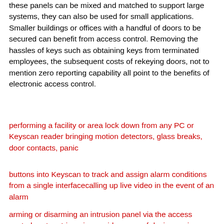these panels can be mixed and matched to support large systems, they can also be used for small applications. Smaller buildings or offices with a handful of doors to be secured can benefit from access control. Removing the hassles of keys such as obtaining keys from terminated employees, the subsequent costs of rekeying doors, not to mention zero reporting capability all point to the benefits of electronic access control.
performing a facility or area lock down from any PC or Keyscan reader bringing motion detectors, glass breaks, door contacts, panic
buttons into Keyscan to track and assign alarm conditions from a single interfacecalling up live video in the event of an alarm
arming or disarming an intrusion panel via the access control system triggering a wide range of devices using Keyscan